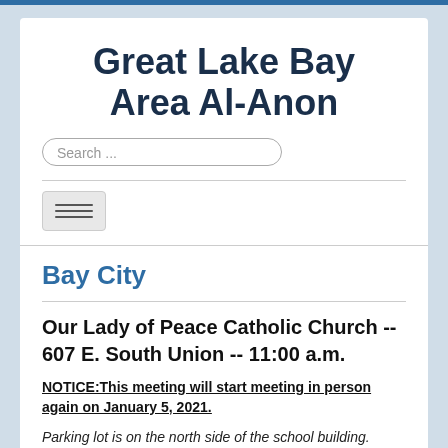Great Lake Bay Area Al-Anon
Bay City
Our Lady of Peace Catholic Church -- 607 E. South Union -- 11:00 a.m.
NOTICE:This meeting will start meeting in person again on January 5, 2021.
Parking lot is on the north side of the school building. From N. Henry St., turn east onto E. Clara St. The parking lot is on the